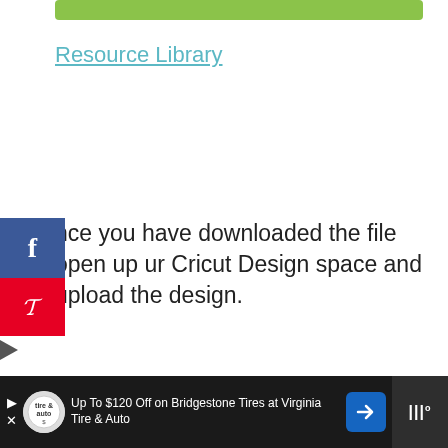[Figure (other): Green rounded rectangle bar at top of page]
Resource Library
[Figure (other): Facebook share button (blue) and Pinterest button (red) on left edge, with left-pointing arrow below]
nce you have downloaded the file open up ur Cricut Design space and upload the design.
[Figure (photo): Ad banner showing hands forming a heart shape with #ViralKindness text on a sunset sky background, with close X button]
[Figure (other): Heart icon button (teal circle) with count 4, and share icon button below]
[Figure (other): What's Next thumbnail with text: Galvanized Metal Winter...]
[Figure (other): Bottom advertisement bar: Up To $120 Off on Bridgestone Tires at Virginia Tire & Auto, with logo, arrow, and right panel]